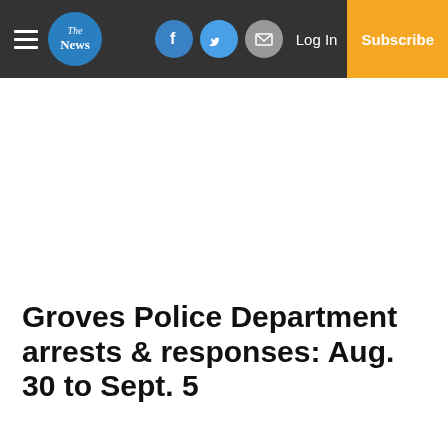[Figure (logo): The News newspaper website navigation bar with hamburger menu, circular blue logo reading 'The News', Facebook, Twitter, email social icons, Log In text, and orange Subscribe button]
Groves Police Department arrests & responses: Aug. 30 to Sept. 5